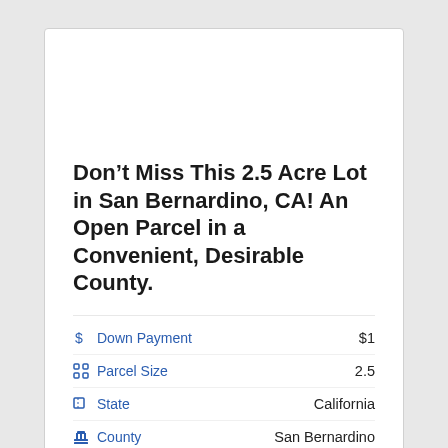Don’t Miss This 2.5 Acre Lot in San Bernardino, CA! An Open Parcel in a Convenient, Desirable County.
Down Payment: $1
Parcel Size: 2.5
State: California
County: San Bernardino
Just $209/month